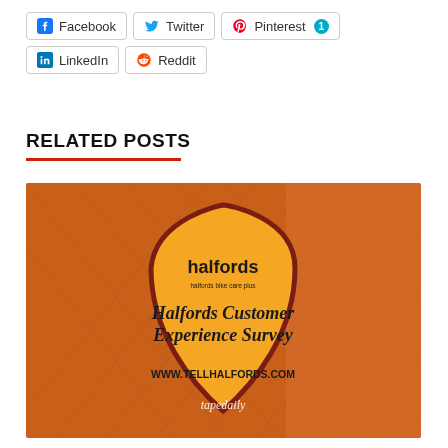[Figure (screenshot): Social share buttons: Facebook, Twitter, Pinterest (with badge 1), LinkedIn, Reddit]
RELATED POSTS
[Figure (photo): Halfords Customer Experience Survey shield badge image on an orange diamond-pattern background with text: halfords, Halfords Customer Experience Survey, WWW.TELLHALFORDS.COM, tapedaily watermark]